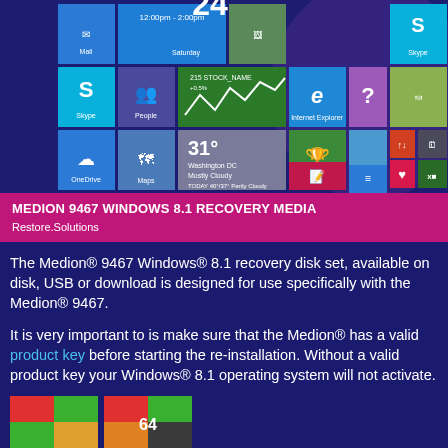[Figure (screenshot): Windows 8.1 Start Screen showing colorful tiles including Mail, Skype, People, Internet Explorer, Weather (31° Washington DC Mostly Cloudy), and other Metro UI tiles]
MEDION 9467 WINDOWS 8.1 RECOVERY MEDIA
Restore.Solutions
The Medion® 9467 Windows® 8.1 recovery disk set, available on disk, USB or download is designed for use specifically with the Medion® 9467.
It is very important to is make sure that the Medion® has a valid product key before starting the re-installation. Without a valid product key your Windows® 8.1 operating system will not activate.
[Figure (screenshot): Two colorful Windows/software icons at the bottom left — one blue/red/green and one orange/red/green]